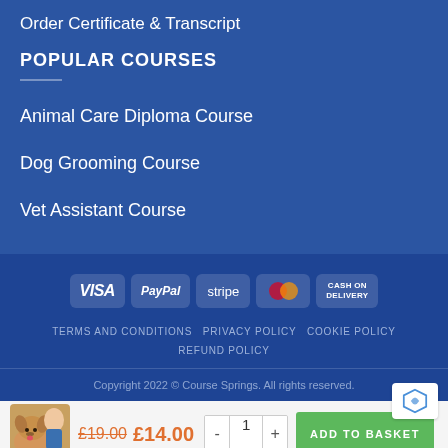Order Certificate & Transcript
POPULAR COURSES
Animal Care Diploma Course
Dog Grooming Course
Vet Assistant Course
[Figure (other): Payment method logos: VISA, PayPal, stripe, MasterCard, CASH ON DELIVERY]
TERMS AND CONDITIONS  PRIVACY POLICY  COOKIE POLICY  REFUND POLICY
Copyright 2022 © Course Springs. All rights reserved.
£19.00  £14.00  - 1 +  ADD TO BASKET